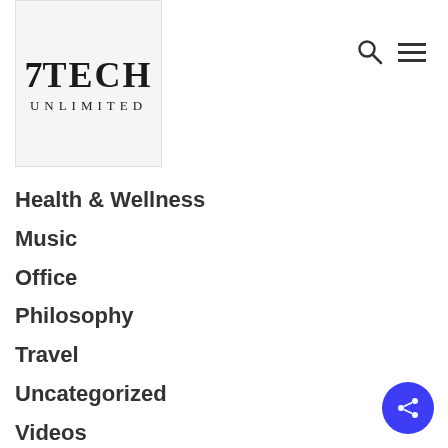[Figure (logo): 7TECH UNLIMITED logo on crumpled white fabric/paper background]
[Figure (other): Search and hamburger menu icons in top right]
Health & Wellness
Music
Office
Philosophy
Travel
Uncategorized
Videos
[Figure (other): Blue circular share button with share icon in bottom right corner]